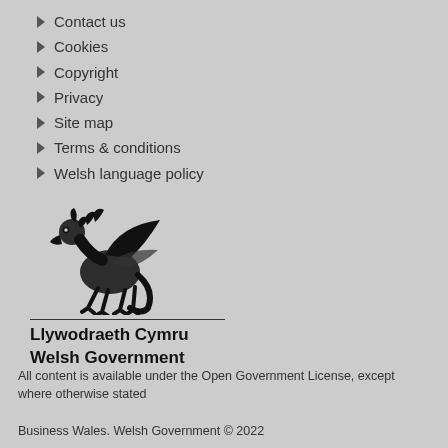Contact us
Cookies
Copyright
Privacy
Site map
Terms & conditions
Welsh language policy
[Figure (logo): Welsh Government dragon logo with text 'Llywodraeth Cymru Welsh Government']
All content is available under the Open Government License, except where otherwise stated
Business Wales. Welsh Government © 2022